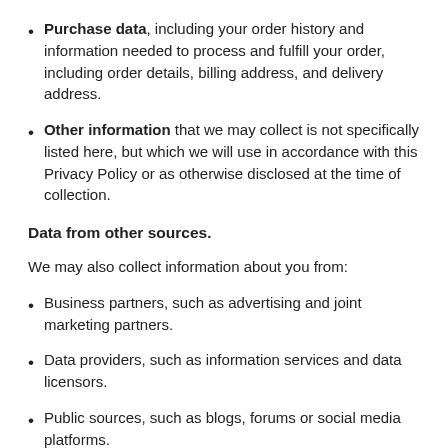Purchase data, including your order history and information needed to process and fulfill your order, including order details, billing address, and delivery address.
Other information that we may collect is not specifically listed here, but which we will use in accordance with this Privacy Policy or as otherwise disclosed at the time of collection.
Data from other sources.
We may also collect information about you from:
Business partners, such as advertising and joint marketing partners.
Data providers, such as information services and data licensors.
Public sources, such as blogs, forums or social media platforms.